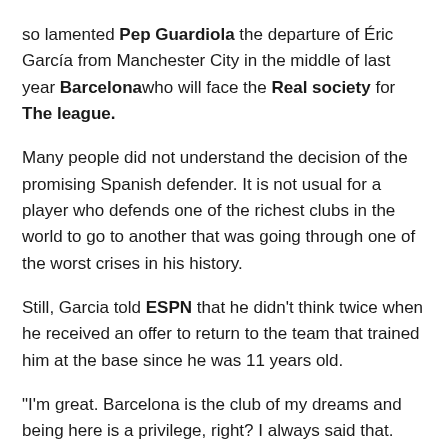so lamented Pep Guardiola the departure of Éric García from Manchester City in the middle of last year Barcelonawho will face the Real society for The league.
Many people did not understand the decision of the promising Spanish defender. It is not usual for a player who defends one of the richest clubs in the world to go to another that was going through one of the worst crises in his history.
Still, Garcia told ESPN that he didn't think twice when he received an offer to return to the team that trained him at the base since he was 11 years old.
“I'm great. Barcelona is the club of my dreams and being here is a privilege, right? I always said that. And when I had the option to return, of course I accepted,” he explained in an exclusive interview.